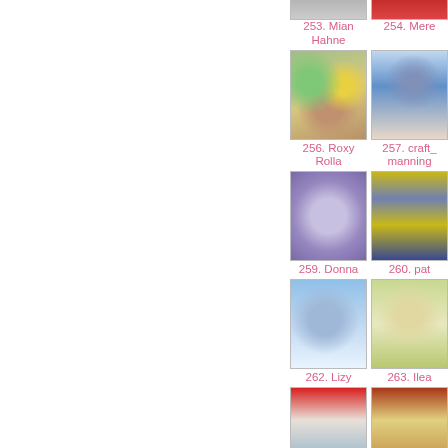[Figure (photo): Top partial image of craft item entry 253]
253. Mian Hahne
[Figure (photo): Craft card image for entry 253 Mian Hahne - colorful floral card with figures]
[Figure (photo): Top partial image of craft item entry 254]
254. Mere
[Figure (photo): Craft card image for entry 257 craft_manning - girl in blue dress]
256. Roxy Rolla
257. craft_manning
[Figure (photo): Craft card image for entry 259 Donna - purple teddy bears card]
[Figure (photo): Craft card image for entry 260 pat - yellow birthday card]
259. Donna
260. pat
[Figure (photo): Craft card image for entry 262 Lizy - teddy bear on blue sofa]
[Figure (photo): Craft card image for entry 263 Ilea - girl figure]
262. Lizy
263. Ilea
[Figure (photo): Craft card with girl in red frame]
[Figure (photo): Craft card with gingerbread figure]